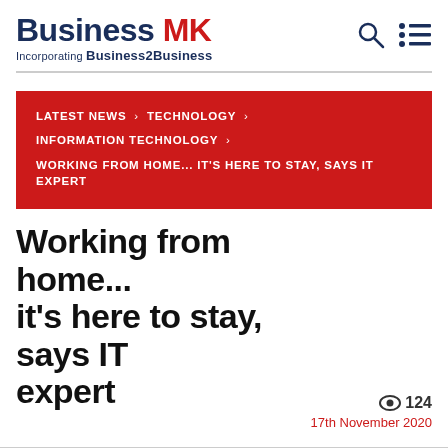Business MK Incorporating Business2Business
LATEST NEWS > TECHNOLOGY > INFORMATION TECHNOLOGY > WORKING FROM HOME... IT'S HERE TO STAY, SAYS IT EXPERT
Working from home... it's here to stay, says IT expert
124 views · 17th November 2020